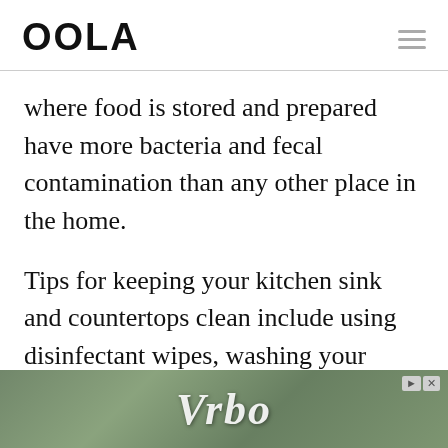OOLA
where food is stored and prepared have more bacteria and fecal contamination than any other place in the home.
Tips for keeping your kitchen sink and countertops clean include using disinfectant wipes, washing your hands before and after handling raw meat or unprepared food, and changing your dish towels a few times every
[Figure (screenshot): Vrbo advertisement banner with outdoor/vacation rental imagery and Vrbo logo text in white italic script, with navigation arrows and close button in top right corner]